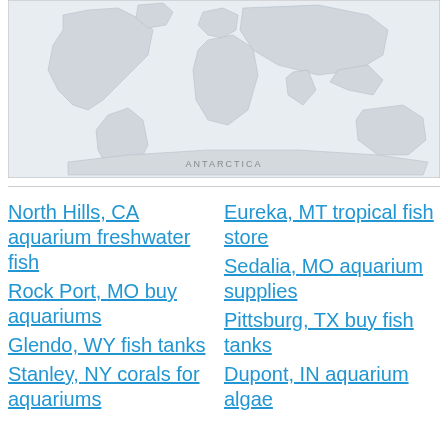[Figure (map): A world map with light grey landmasses on a light background, showing Antarctica label at the bottom center.]
North Hills, CA aquarium freshwater fish
Rock Port, MO buy aquariums
Glendo, WY fish tanks
Stanley, NY corals for aquariums
Eureka, MT tropical fish store
Sedalia, MO aquarium supplies
Pittsburg, TX buy fish tanks
Dupont, IN aquarium algae